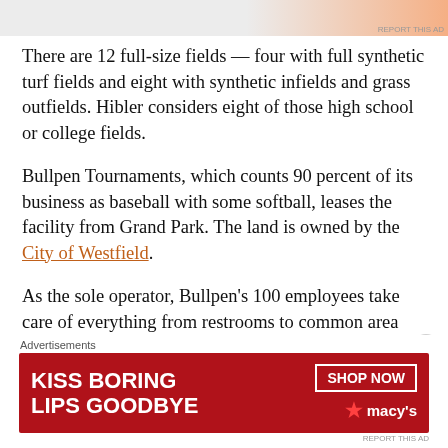[Figure (other): Top advertisement banner — partial view, gradient background with orange/peach tones. 'REPORT THIS AD' text in corner.]
There are 12 full-size fields — four with full synthetic turf fields and eight with synthetic infields and grass outfields. Hibler considers eight of those high school or college fields.
Bullpen Tournaments, which counts 90 percent of its business as baseball with some softball, leases the facility from Grand Park. The land is owned by the City of Westfield.
As the sole operator, Bullpen's 100 employees take care of everything from restrooms to common area mowing to field maintenance to practice scheduling and more.
From the beginning of June to the end of July, there are 230 to
Advertisements
[Figure (other): Macy's advertisement banner: 'KISS BORING LIPS GOODBYE' with a woman's face, red lips, 'SHOP NOW' button and Macy's star logo on red background.]